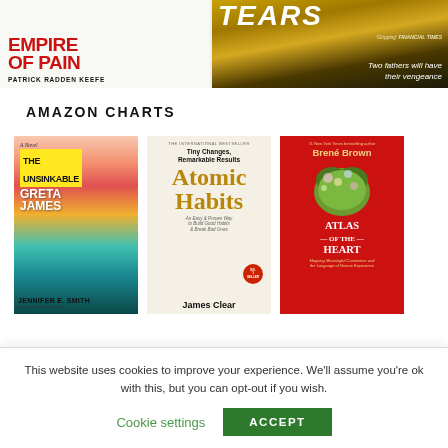[Figure (illustration): Two book covers at top: left shows 'Empire of Pain' by Patrick Radden Keefe with red bold text on white background; right shows a thriller book with 'Tears' in large letters, a desert road scene, blurb 'Gripping Financial Times', tagline 'Two fathers will have their vengeance']
AMAZON CHARTS
[Figure (illustration): Three book covers in a row: 1) The Unsinkable Greta James by Jennifer E. Smith - colorful cover with abstract landscape; 2) Atomic Habits by James Clear - cream/beige cover with gold title text, subtitle 'Tiny Changes, Remarkable Results'; 3) Atlas of the Heart by Brené Brown - red cover with illustrated anatomical heart made of flowers]
This website uses cookies to improve your experience. We'll assume you're ok with this, but you can opt-out if you wish.
Cookie settings
ACCEPT